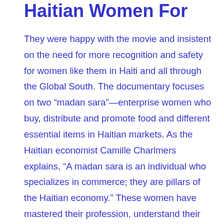Haitian Women For
They were happy with the movie and insistent on the need for more recognition and safety for women like them in Haiti and all through the Global South. The documentary focuses on two “madan sara”—enterprise women who buy, distribute and promote food and different essential items in Haitian markets. As the Haitian economist Camille Charlmers explains, “A madan sara is an individual who specializes in commerce; they are pillars of the Haitian economy.” These women have mastered their profession, understand their worth in the global economy, and take delight of their craft. The ubiquitous poverty trope frequently used to explain Haiti is notably absent from the narrative. Instead, copious amounts of produce—piles of mangoes, a great deal of cabbage, bunches of bright orange carrots—are current in almost each shot, disabusing the viewer of the concept that Haiti is just a